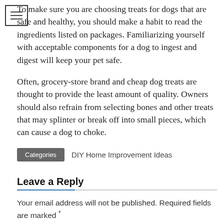[Figure (other): Hamburger menu icon (three horizontal lines) in a bordered box]
To make sure you are choosing treats for dogs that are safe and healthy, you should make a habit to read the ingredients listed on packages. Familiarizing yourself with acceptable components for a dog to ingest and digest will keep your pet safe.
Often, grocery-store brand and cheap dog treats are thought to provide the least amount of quality. Owners should also refrain from selecting bones and other treats that may splinter or break off into small pieces, which can cause a dog to choke.
Categories   DIY Home Improvement Ideas
Leave a Reply
Your email address will not be published. Required fields are marked *